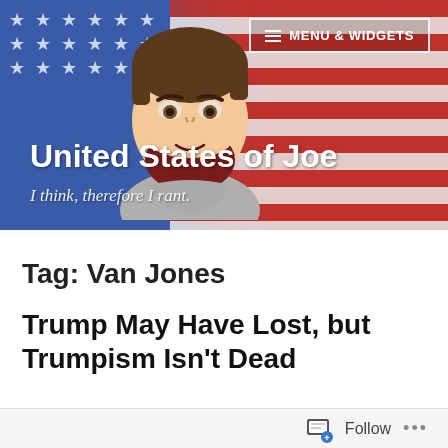[Figure (illustration): Website header banner showing a cartoon avatar of a bearded man in front of an American flag background, with menu button in top right]
United States of Joe
I think, therefore I rant.
Tag: Van Jones
Trump May Have Lost, but Trumpism Isn't Dead
Follow ...